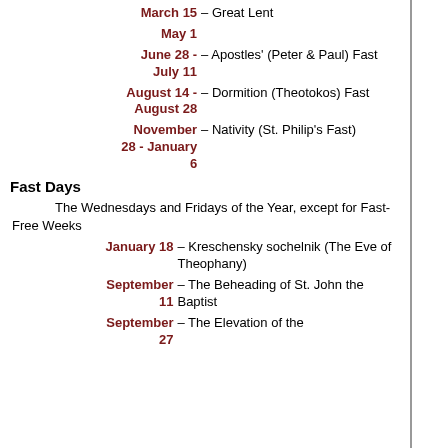March 15 – Great Lent
May 1
June 28 - July 11 – Apostles' (Peter & Paul) Fast
August 14 - August 28 – Dormition (Theotokos) Fast
November 28 - January 6 – Nativity (St. Philip's Fast)
Fast Days
The Wednesdays and Fridays of the Year, except for Fast-Free Weeks
January 18 – Kreschensky sochelnik (The Eve of Theophany)
September 11 – The Beheading of St. John the Baptist
September 27 – The Elevation of the...